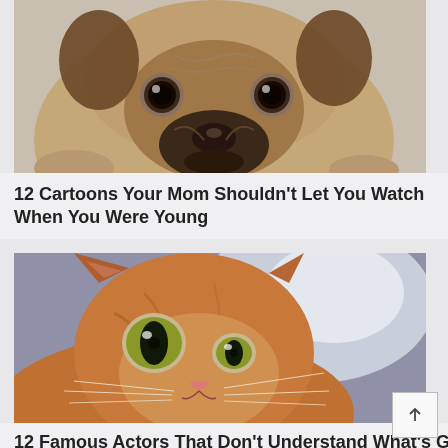[Figure (photo): Close-up photo of a pug dog face looking at camera with big dark eyes and wrinkled face]
12 Cartoons Your Mom Shouldn't Let You Watch When You Were Young
[Figure (photo): Close-up photo of an orange tabby cat with wide eyes looking at camera]
12 Famous Actors That Don't Understand What's Going On